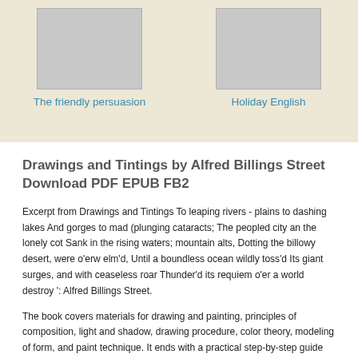[Figure (illustration): Book cover placeholder (gray rectangle) for 'The friendly persuasion']
The friendly persuasion
[Figure (illustration): Book cover placeholder (gray rectangle) for 'Holiday English']
Holiday English
Drawings and Tintings by Alfred Billings Street Download PDF EPUB FB2
Excerpt from Drawings and Tintings To leaping rivers - plains to dashing lakes And gorges to mad (plunging cataracts; The peopled city an the lonely cot Sank in the rising waters; mountain alts, Dotting the billowy desert, were o'erw elm'd, Until a boundless ocean wildly toss'd Its giant surges, and with ceaseless roar Thunder'd its requiem o'er a world destroy ': Alfred Billings Street.
The book covers materials for drawing and painting, principles of composition, light and shadow, drawing procedure, color theory, modeling of form, and paint technique. It ends with a practical step-by-step guide that walks you through all the decisions you'll need /5(49).